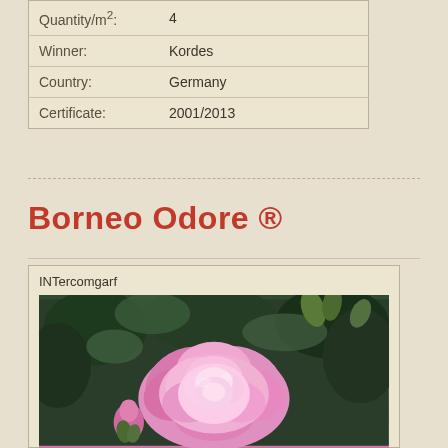| Quantity/m²: | 4 |
| Winner: | Kordes |
| Country: | Germany |
| Certificate: | 2001/2013 |
Borneo Odore ®
INTercomgarf
[Figure (photo): Close-up photo of a pink rose bloom with dark green foliage in the background]